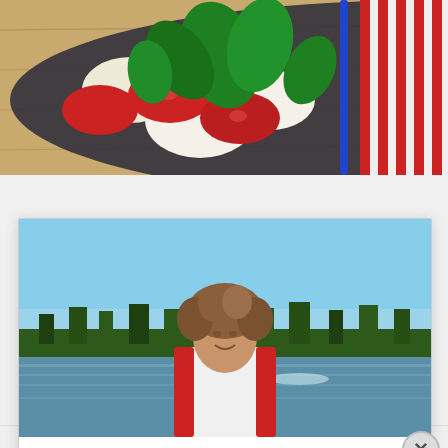[Figure (photo): Top portion of a food photo showing caprese salad with mozzarella, tomatoes and basil leaves on a dark plate, on a wooden surface with red and white striped paper and a blue pen visible]
[Figure (photo): Photo of a woman with curly hair wearing a white top and red life vest, standing on a boat on a lake or sea, with forested shoreline and blue sky in the background]
Privacy & Cookies: This site uses cookies. By continuing to use this website, you agree to their use.
To find out more, including how to control cookies, see here: Cookie Policy
Close and accept